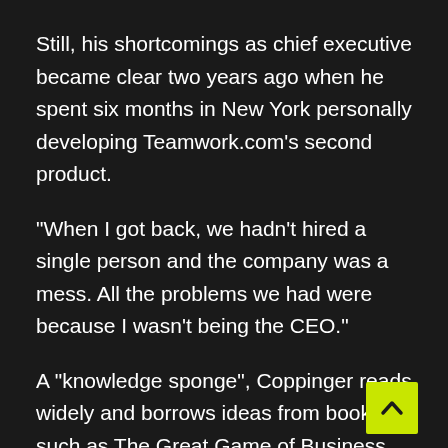Still, his shortcomings as chief executive became clear two years ago when he spent six months in New York personally developing Teamwork.com's second product.
“When I got back, we hadn’t hired a single person and the company was a mess. All the problems we had were because I wasn’t being the CEO.”
A “knowledge sponge”, Coppinger reads widely and borrows ideas from books such as The Great Game of Business. This year, he adopted an open-book policy, sharing financial figures with the staff and giving them the potential to share in profits.
A staff share option scheme will be put in place next year, and Teamwork.com donates 1% of profits to good causes. As the move to the new office, it is offering its old HQ as free